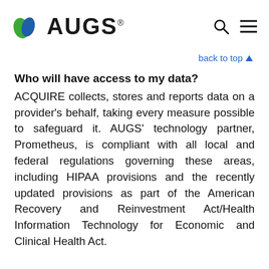AUGS
back to top
Who will have access to my data?
ACQUIRE collects, stores and reports data on a provider's behalf, taking every measure possible to safeguard it. AUGS' technology partner, Prometheus, is compliant with all local and federal regulations governing these areas, including HIPAA provisions and the recently updated provisions as part of the American Recovery and Reinvestment Act/Health Information Technology for Economic and Clinical Health Act.